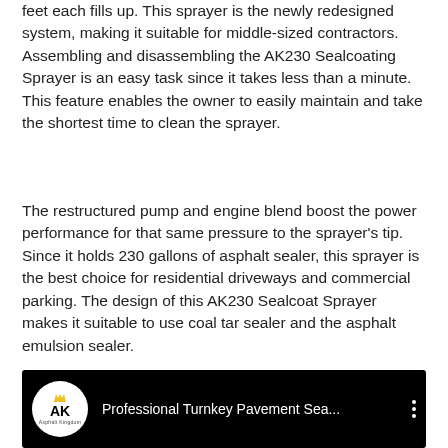feet each fills up. This sprayer is the newly redesigned system, making it suitable for middle-sized contractors. Assembling and disassembling the AK230 Sealcoating Sprayer is an easy task since it takes less than a minute. This feature enables the owner to easily maintain and take the shortest time to clean the sprayer.
The restructured pump and engine blend boost the power performance for that same pressure to the sprayer's tip. Since it holds 230 gallons of asphalt sealer, this sprayer is the best choice for residential driveways and commercial parking. The design of this AK230 Sealcoat Sprayer makes it suitable to use coal tar sealer and the asphalt emulsion sealer.
[Figure (screenshot): Embedded video thumbnail with black background. Shows Asphalt Kingdom logo (white circle with AK text and crown, with 'Asphalt Kingdom' subtitle) on the left, and the video title 'Professional Turnkey Pavement Sea...' in white text, with a vertical three-dot menu icon on the right.]